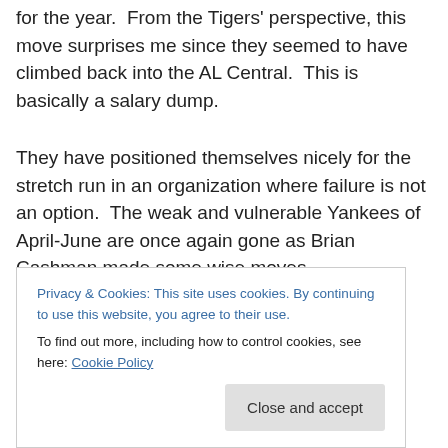for the year.  From the Tigers' perspective, this move surprises me since they seemed to have climbed back into the AL Central.  This is basically a salary dump.
They have positioned themselves nicely for the stretch run in an organization where failure is not an option.  The weak and vulnerable Yankees of April-June are once again gone as Brian Cashman made some wise moves
they added millions in payroll.
Privacy & Cookies: This site uses cookies. By continuing to use this website, you agree to their use.
To find out more, including how to control cookies, see here: Cookie Policy